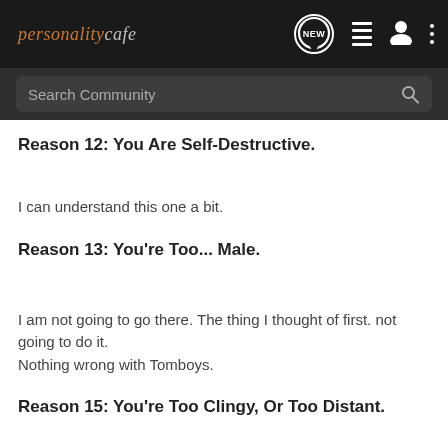personalitycafe — navigation header with NEW, list, user, and menu icons
Search Community
Reason 12: You Are Self-Destructive.
I can understand this one a bit.
Reason 13: You're Too... Male.
I am not going to go there. The thing I thought of first. not going to do it.
Nothing wrong with Tomboys.
Reason 15: You're Too Clingy, Or Too Distant.